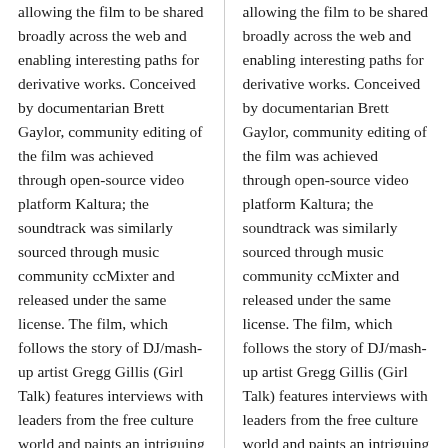allowing the film to be shared broadly across the web and enabling interesting paths for derivative works. Conceived by documentarian Brett Gaylor, community editing of the film was achieved through open-source video platform Kaltura; the soundtrack was similarly sourced through music community ccMixter and released under the same license. The film, which follows the story of DJ/mash-up artist Gregg Gillis (Girl Talk) features interviews with leaders from the free culture world and paints an intriguing picture of the current legal landscape for musicians that rely on sampling as an artistic device. M...
allowing the film to be shared broadly across the web and enabling interesting paths for derivative works. Conceived by documentarian Brett Gaylor, community editing of the film was achieved through open-source video platform Kaltura; the soundtrack was similarly sourced through music community ccMixter and released under the same license. The film, which follows the story of DJ/mash-up artist Gregg Gillis (Girl Talk) features interviews with leaders from the free culture world and paints an intriguing picture of the current legal landscape for musicians that rely on sampling as an artistic device. M...